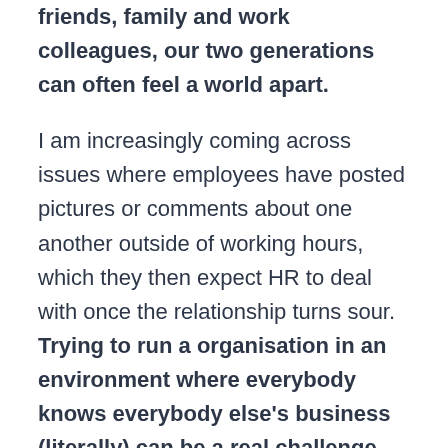friends, family and work colleagues, our two generations can often feel a world apart.
I am increasingly coming across issues where employees have posted pictures or comments about one another outside of working hours, which they then expect HR to deal with once the relationship turns sour. Trying to run a organisation in an environment where everybody knows everybody else's business (literally) can be a real challenge, as the lines between work and personal life are becoming more and more blurred.